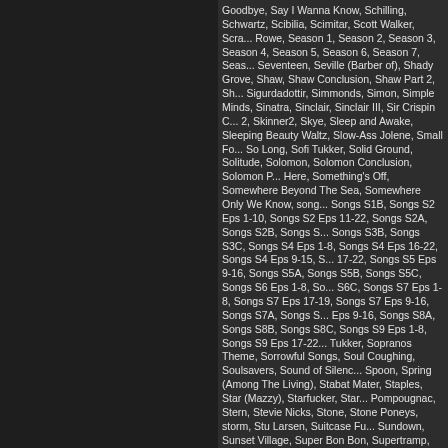Goodbye, Say I Wanna Know, Schilling, Schwartz, Scibilia, Scimitar, Scott Walker, Scra... Rowe, Season 1, Season 2, Season 3, Season 4, Season 5, Season 6, Season 7, Seas... Seventeen, Seville (Barber of), Shady Grove, Shaw, Shaw Conclusion, Shaw Part 2, Sh... Sigurdadottir, Simmonds, Simon, Simple Minds, Sinatra, Sinclair, Sinclair III, Sir Crispin C... 2, Skinner2, Skye, Sleep and Awake, Sleeping Beauty Waltz, Slow-Ass Jolene, Small Fo... So Long, Sofi Tukker, Solid Ground, Solitude, Solomon, Solomon Conclusion, Solomon P... Here, Something's Off, Somewhere Beyond The Sea, Somewhere Only We Know, song... Songs S1B, Songs S2 Eps 1-10, Songs S2 Eps 11-22, Songs S2A, Songs S2B, Songs S... Songs S3B, Songs S3C, Songs S4 Eps 1-8, Songs S4 Eps 16-22, Songs S4 Eps 9-15, S... 17-22, Songs S5 Eps 9-16, Songs S5A, Songs S5B, Songs S5C, Songs S6 Eps 1-8, So... S6C, Songs S7 Eps 1-8, Songs S7 Eps 17-19, Songs S7 Eps 9-16, Songs S7A, Songs S... Eps 9-16, Songs S8A, Songs S8B, Songs S8C, Songs S9 Eps 1-8, Songs S9 Eps 17-22... Tukker, Sopranos Theme, Sorrowful Songs, Soul Coughing, Soulsavers, Sound of Silenc... Spoon, Spring (Among The Living), Stabat Mater, Staples, Star (Mazzy), Starfucker, Star... Pompougnac, Stern, Stevie Nicks, Stone, Stone Poneys, storm, Stu Larsen, Suitcase Fu... Sundown, Sunset Village, Super Bon Bon, Supertramp, Surkov, Survivor, Susan Hargrau... Time, Sweetheart What Have You Done To Us, SYML, Sympathique, Sympathy for the D... Gamble (unavailable), Tale of Tsar Saltan, Tanida, Tantrums (Fitz and The), Tchaikovsky... Alchemist, The Animals, The Anniversary Waltz, The Answer, The Answer by Unkle feat... Avenging Angel, The Baby, The Bear Mask, The Blacklist, The Boss, The Bridge, The Br... The Conglomerate [No Songs], The Cook, The Corsican, The Courier, The Cryptobanker... Decembrist, The Deer Hunter, The Devil You Know, The Director, The Director Conclusio... Editors, The End, The Endling, The Ethicist, The Faces, The Forecaster, The Freelancer... Harem, The Hawaladar, The Informant, The Invisible Hand, The Isley Brothers, The Jody... The Kilgannon Corporation, The Killing Season, The Kills, The Kingmaker, The Knocks, T... Longevity Initiative (no songs), The Losers, The Lovin' Spoonful, The Lumineers, The Ma... The Mombasa Cartel, The Old Man's Back Again, The Osterman Umbrella Company, Th... Pixies, The Police, The Protean, The Road to Nowhere, The Rolling Stones, The Roman... Skinner Part 2, The Sopranos Theme, The SPK, The SPK [No Songs], The Tale of Tsar S... The Travel Agency, The TritoneKings, The Troll Farmer, The Turtles, The Vehm (no song... Wellstone Agency, The World's Made Up of This and That, The Wreck of the Edmund Fit... Swan Lake, There's Something Happening Here, These Boots Are Made for Walkin', Thi... This Kind of Love, This Must Be The Place, Thompson Twins, Thorpe, Thrall, Throat Sin...